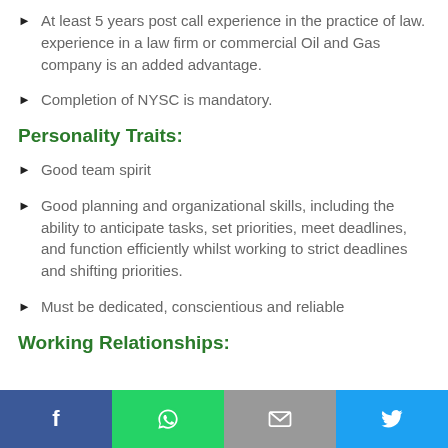At least 5 years post call experience in the practice of law. experience in a law firm or commercial Oil and Gas company is an added advantage.
Completion of NYSC is mandatory.
Personality Traits:
Good team spirit
Good planning and organizational skills, including the ability to anticipate tasks, set priorities, meet deadlines, and function efficiently whilst working to strict deadlines and shifting priorities.
Must be dedicated, conscientious and reliable
Working Relationships: